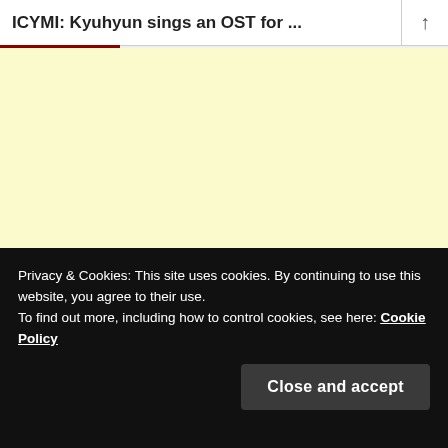ICYMI: Kyuhyun sings an OST for ...
[Figure (screenshot): Pale yellow background content area of a webpage, mostly blank]
Privacy & Cookies: This site uses cookies. By continuing to use this website, you agree to their use.
To find out more, including how to control cookies, see here: Cookie Policy
Close and accept